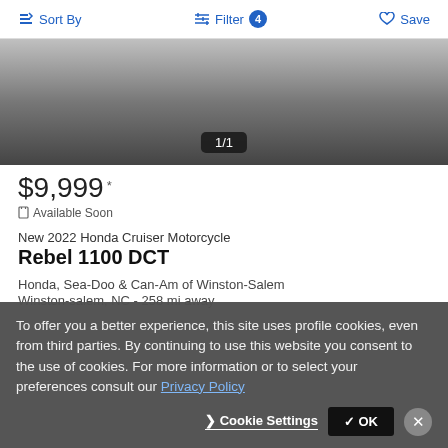Sort By   Filter 4   Save
[Figure (photo): Motorcycle listing image area with gradient background and page indicator 1/1]
$9,999 *
Available Soon
New 2022 Honda Cruiser Motorcycle
Rebel 1100 DCT
Honda, Sea-Doo & Can-Am of Winston-Salem
Winston-salem, NC - 258 mi away
To offer you a better experience, this site uses profile cookies, even from third parties. By continuing to use this website you consent to the use of cookies. For more information or to select your preferences consult our Privacy Policy